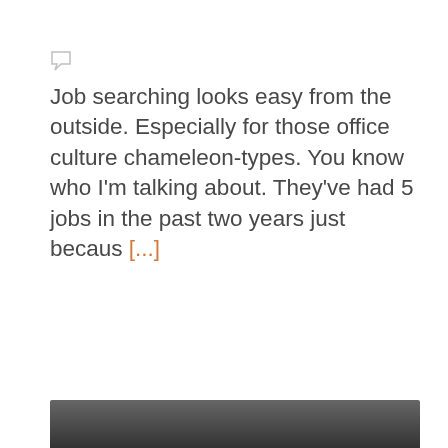Job searching looks easy from the outside. Especially for those office culture chameleon-types. You know who I'm talking about. They've had 5 jobs in the past two years just becaus [...]
05 Apr 2018
Tag career, career readiness, career services, Job Search, mentor, sa career, Student Affairs